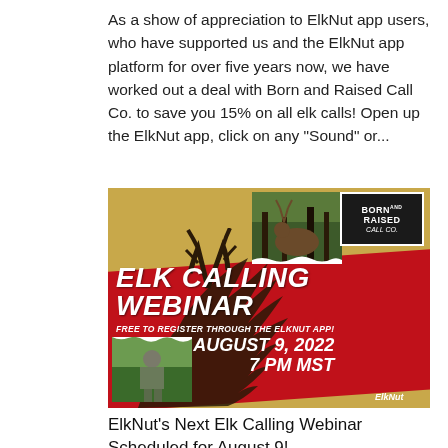As a show of appreciation to ElkNut app users, who have supported us and the ElkNut app platform for over five years now, we have worked out a deal with Born and Raised Call Co. to save you 15% on all elk calls! Open up the ElkNut app, click on any "Sound" or...
[Figure (photo): Promotional advertisement for an Elk Calling Webinar hosted by Born and Raised Call Co. in partnership with ElkNut. Red diagonal banner with white text reading 'ELK CALLING WEBINAR', 'FREE TO REGISTER THROUGH THE ELKNUT APP!', 'AUGUST 9, 2022', '7 PM MST'. Logo for Born and Raised Call Co. in top right. Photos of elk and a hunter.]
ElkNut's Next Elk Calling Webinar Scheduled for August 9!